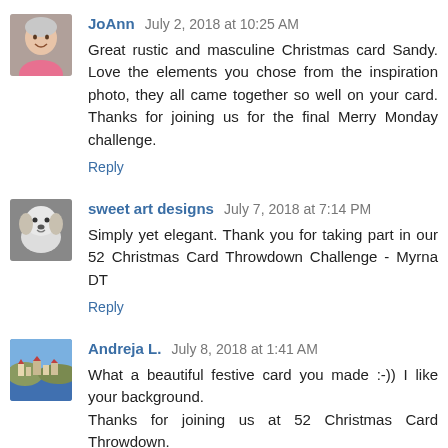[Figure (photo): Avatar photo of JoAnn, an older woman in a pink top]
JoAnn July 2, 2018 at 10:25 AM
Great rustic and masculine Christmas card Sandy. Love the elements you chose from the inspiration photo, they all came together so well on your card. Thanks for joining us for the final Merry Monday challenge.
Reply
[Figure (photo): Avatar photo of sweet art designs, a small white dog]
sweet art designs July 7, 2018 at 7:14 PM
Simply yet elegant. Thank you for taking part in our 52 Christmas Card Throwdown Challenge - Myrna DT
Reply
[Figure (photo): Avatar photo of Andreja L., a coastal town landscape]
Andreja L. July 8, 2018 at 1:41 AM
What a beautiful festive card you made :-)) I like your background.
Thanks for joining us at 52 Christmas Card Throwdown.
Reply